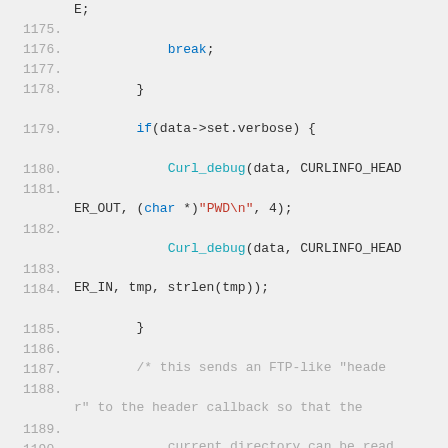[Figure (screenshot): Source code listing in monospace font showing C code lines 1175-1192, with line numbers on the left and syntax-highlighted code on the right. Keywords and function names are highlighted in teal/blue, string literals in red, and comments in gray.]